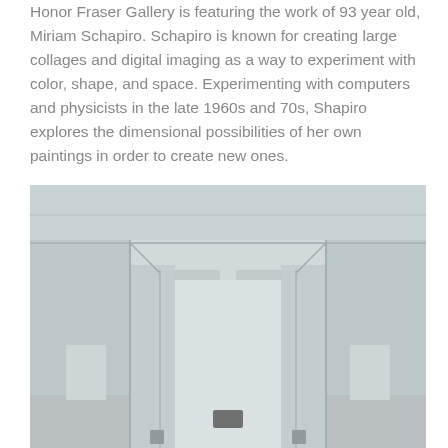Honor Fraser Gallery is featuring the work of 93 year old, Miriam Schapiro. Schapiro is known for creating large collages and digital imaging as a way to experiment with color, shape, and space. Experimenting with computers and physicists in the late 1960s and 70s, Shapiro explores the dimensional possibilities of her own paintings in order to create new ones.
[Figure (photo): Interior gallery space with white walls and architectural details showing rooms and display areas. A small dark object visible on the floor in the center, items along walls.]